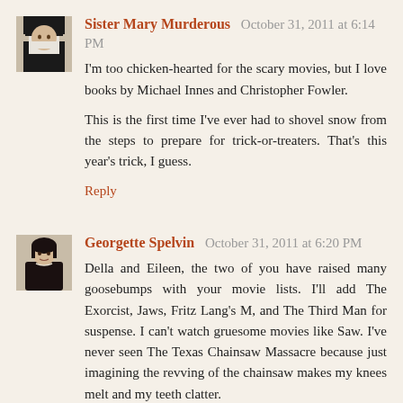[Figure (photo): Avatar photo of Sister Mary Murderous, a nun in habit]
Sister Mary Murderous  October 31, 2011 at 6:14 PM
I'm too chicken-hearted for the scary movies, but I love books by Michael Innes and Christopher Fowler.
This is the first time I've ever had to shovel snow from the steps to prepare for trick-or-treaters. That's this year's trick, I guess.
Reply
[Figure (photo): Avatar photo of Georgette Spelvin, a woman in dark dress]
Georgette Spelvin  October 31, 2011 at 6:20 PM
Della and Eileen, the two of you have raised many goosebumps with your movie lists. I'll add The Exorcist, Jaws, Fritz Lang's M, and The Third Man for suspense. I can't watch gruesome movies like Saw. I've never seen The Texas Chainsaw Massacre because just imagining the revving of the chainsaw makes my knees melt and my teeth clatter.
Some movies with moments that made my hands sweat: Luc Besson's Léon: The Professional (with Jean Reno, Gary Oldman, and a young Natalie Portman), Fargo, Kill Bill, and Reservoir